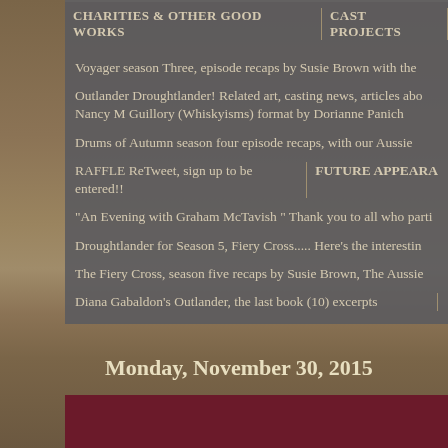CHARITIES & OTHER GOOD WORKS | CAST PROJECTS
Voyager season Three, episode recaps by Susie Brown with the
Outlander Droughtlander! Related art, casting news, articles abo... Nancy M Guillory (Whiskyisms) format by Dorianne Panich
Drums of Autumn season four episode recaps, with our Aussie
RAFFLE ReTweet, sign up to be entered!! | FUTURE APPEARA
"An Evening with Graham McTavish " Thank you to all who parti
Droughtlander for Season 5, Fiery Cross..... Here's the interestin
The Fiery Cross, season five recaps by Susie Brown, The Aussie
Diana Gabaldon's Outlander, the last book (10) excerpts
Monday, November 30, 2015